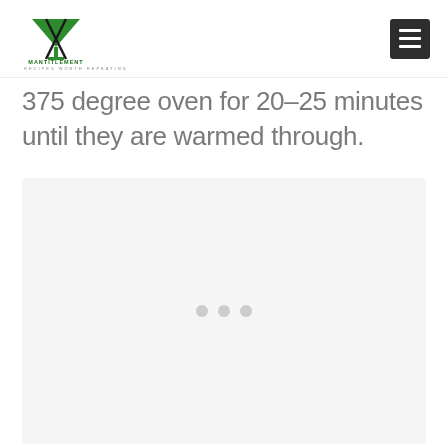MANTITLEMENT RECIPES WORTH REPEATING
375 degree oven for 20-25 minutes until they are warmed through.
[Figure (other): Advertisement placeholder area with light gray background and three small gray dots centered in the lower portion]